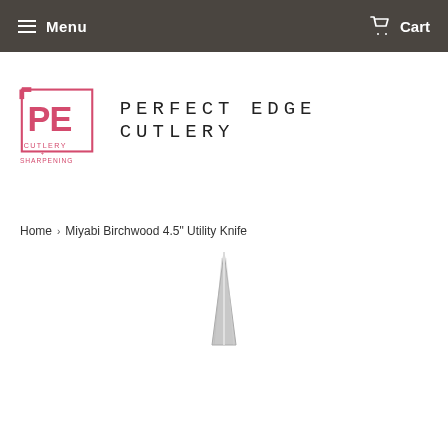Menu   Cart
[Figure (logo): Perfect Edge Cutlery logo — a square bracket PE monogram with 'CUTLERY & SHARPENING' below in pink/red, and 'PERFECT EDGE CUTLERY' in hand-drawn block letters to the right]
Home › Miyabi Birchwood 4.5" Utility Knife
[Figure (photo): Tip/blade of Miyabi Birchwood 4.5 inch Utility Knife shown pointing upward against white background]